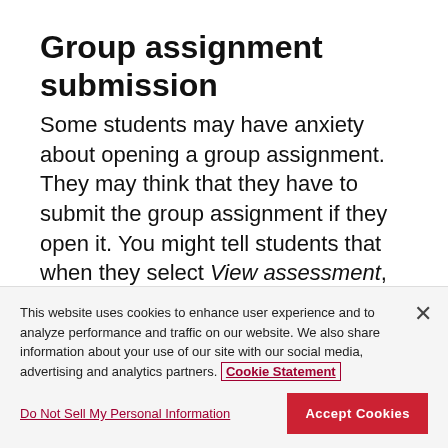Group assignment submission
Some students may have anxiety about opening a group assignment. They may think that they have to submit the group assignment if they open it. You might tell students that when they select View assessment, they can just view the assignment or add some work.
This website uses cookies to enhance user experience and to analyze performance and traffic on our website. We also share information about your use of our site with our social media, advertising and analytics partners. Cookie Statement
Do Not Sell My Personal Information
Accept Cookies